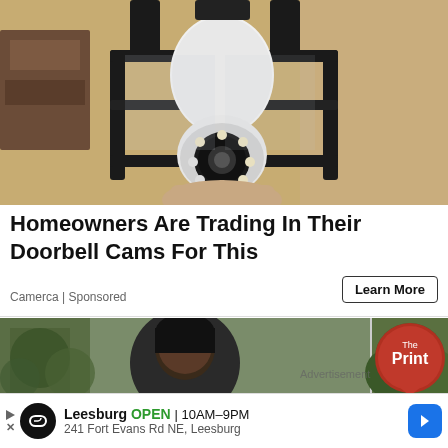[Figure (photo): A person's hand holding a white security camera shaped like a light bulb, installed in a black outdoor lantern fixture mounted on a textured stucco wall.]
Homeowners Are Trading In Their Doorbell Cams For This
Camerca | Sponsored
Learn More
[Figure (photo): A person with dark hair partially visible, next to a photo of trees/foliage. The Print logo badge (red circle) is visible in the top right corner. An 'Advertisement' label and a Leesburg business info bar are overlaid at the bottom.]
Advertisement
Leesburg OPEN 10AM–9PM 241 Fort Evans Rd NE, Leesburg